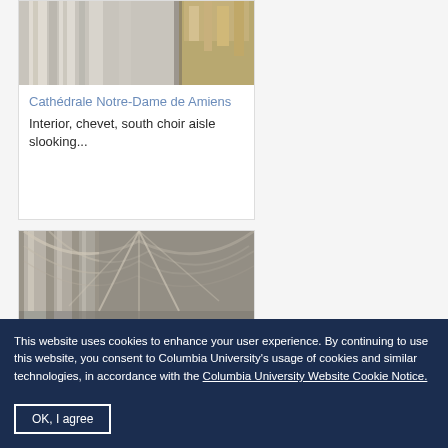[Figure (photo): Interior of Cathédrale Notre-Dame de Amiens showing columns and ornate elements, cropped at top]
Cathédrale Notre-Dame de Amiens
Interior, chevet, south choir aisle slooking...
[Figure (photo): Interior of cathedral showing gothic vaulted ceiling and tall columns]
This website uses cookies to enhance your user experience. By continuing to use this website, you consent to Columbia University's usage of cookies and similar technologies, in accordance with the Columbia University Website Cookie Notice.
OK, I agree